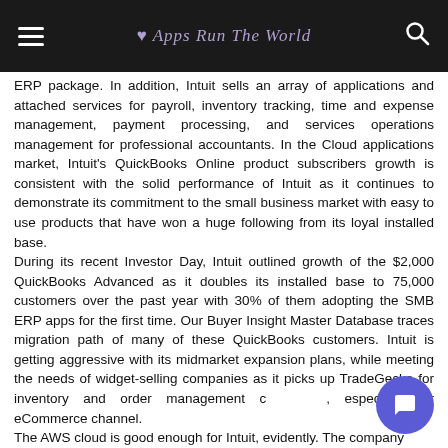Apps Run The World
ERP package. In addition, Intuit sells an array of applications and attached services for payroll, inventory tracking, time and expense management, payment processing, and services operations management for professional accountants. In the Cloud applications market, Intuit's QuickBooks Online product subscribers growth is consistent with the solid performance of Intuit as it continues to demonstrate its commitment to the small business market with easy to use products that have won a huge following from its loyal installed base. During its recent Investor Day, Intuit outlined growth of the $2,000 QuickBooks Advanced as it doubles its installed base to 75,000 customers over the past year with 30% of them adopting the SMB ERP apps for the first time. Our Buyer Insight Master Database traces migration path of many of these QuickBooks customers. Intuit is getting aggressive with its midmarket expansion plans, while meeting the needs of widget-selling companies as it picks up TradeGecko for inventory and order management capabilities, especially for eCommerce channel. The AWS cloud is good enough for Intuit, evidently. The company